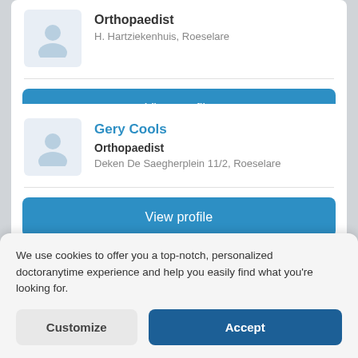Orthopaedist
H. Hartziekenhuis, Roeselare
View profile
Gery Cools
Orthopaedist
Deken De Saegherplein 11/2, Roeselare
View profile
We use cookies to offer you a top-notch, personalized doctoranytime experience and help you easily find what you're looking for.
Customize
Accept